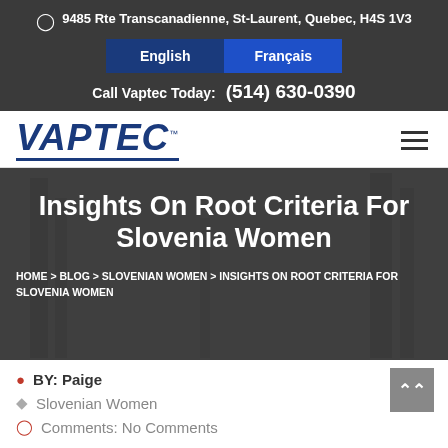9485 Rte Transcanadienne, St-Laurent, Quebec, H4S 1V3
English | Français
Call Vaptec Today: (514) 630-0390
[Figure (logo): VAPTEC logo in bold dark blue italic text with underline]
Insights On Root Criteria For Slovenia Women
HOME > BLOG > SLOVENIAN WOMEN > INSIGHTS ON ROOT CRITERIA FOR SLOVENIA WOMEN
BY: Paige
Slovenian Women
Comments: No Comments